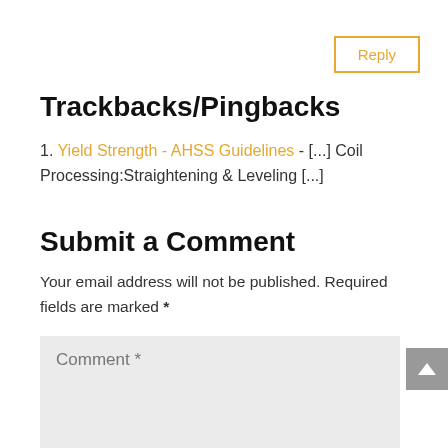Reply
Trackbacks/Pingbacks
1. Yield Strength - AHSS Guidelines - [...] Coil Processing:Straightening & Leveling [...]
Submit a Comment
Your email address will not be published. Required fields are marked *
Comment *